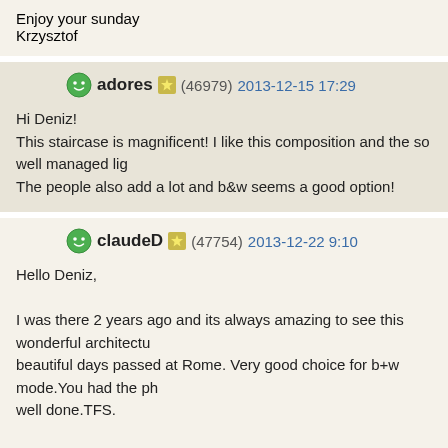Enjoy your sunday
Krzysztof
adores (46979) 2013-12-15 17:29
Hi Deniz!
This staircase is magnificent! I like this composition and the so well managed lig
The people also add a lot and b&w seems a good option!
claudeD (47754) 2013-12-22 9:10
Hello Deniz,

I was there 2 years ago and its always amazing to see this wonderful architectu
beautiful days passed at Rome. Very good choice for b+w mode.You had the ph
well done.TFS.

With regards from Luxembourg

JC
photoray (13981) 2013-12-23 7:13